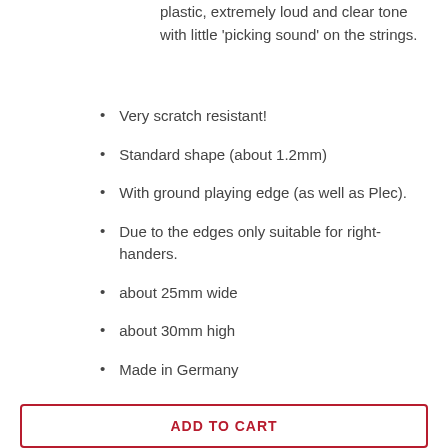plastic, extremely loud and clear tone with little 'picking sound' on the strings.
Very scratch resistant!
Standard shape (about 1.2mm)
With ground playing edge (as well as Plec).
Due to the edges only suitable for right-handers.
about 25mm wide
about 30mm high
Made in Germany
ADD TO CART